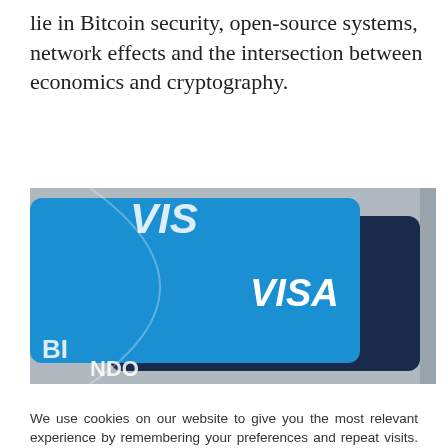lie in Bitcoin security, open-source systems, network effects and the intersection between economics and cryptography.
[Figure (photo): Close-up photo of two Visa credit/debit cards stacked, showing the Visa logo prominently in white text on blue and dark navy card backgrounds.]
We use cookies on our website to give you the most relevant experience by remembering your preferences and repeat visits. By clicking “Accept All”, you consent to the use of ALL the cookies. However, you may visit "Cookie Settings" to provide a controlled consent.